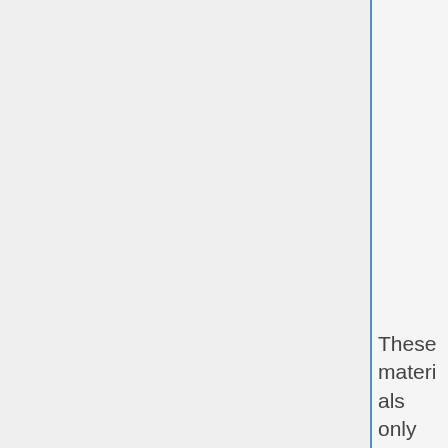greater than 0.155" (4 mm) in internal diameter made of wire no less than 0.020" (0.5 mm) thick meet this requirement.
These materials only need to be tested at the